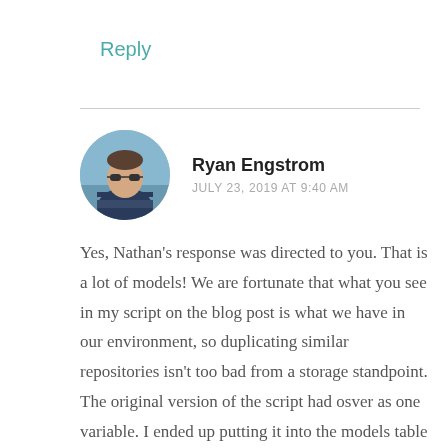Reply
Ryan Engstrom
JULY 23, 2019 AT 9:40 AM
Yes, Nathan's response was directed to you. That is a lot of models! We are fortunate that what you see in my script on the blog post is what we have in our environment, so duplicating similar repositories isn't too bad from a storage standpoint. The original version of the script had osver as one variable. I ended up putting it into the models table so that you could download different versions for